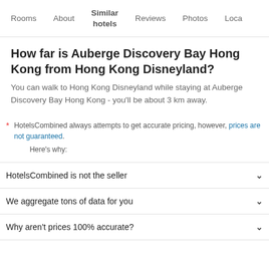Rooms   About   Similar hotels   Reviews   Photos   Loca
How far is Auberge Discovery Bay Hong Kong from Hong Kong Disneyland?
You can walk to Hong Kong Disneyland while staying at Auberge Discovery Bay Hong Kong - you'll be about 3 km away.
* HotelsCombined always attempts to get accurate pricing, however, prices are not guaranteed. Here's why:
HotelsCombined is not the seller
We aggregate tons of data for you
Why aren't prices 100% accurate?